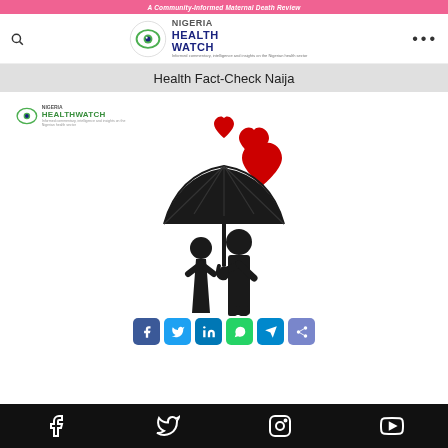A Community-Informed Maternal Death Review
[Figure (logo): Nigeria Health Watch logo with eye icon and green/black text]
Health Fact-Check Naija
[Figure (logo): Nigeria HealthWatch small logo]
[Figure (illustration): Illustration of a couple under an umbrella with red hearts floating above; man holds umbrella over woman. Social sharing icons below: Facebook, Twitter, LinkedIn, WhatsApp, Telegram, Share]
Social media icons: Facebook, Twitter, Instagram, YouTube